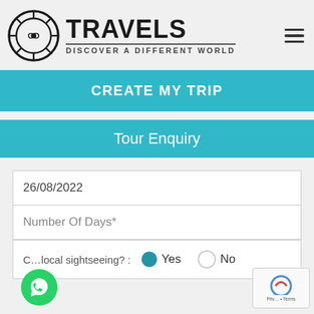[Figure (logo): OD Travels logo — circular wheel/compass icon with 'OD' inside, beside bold 'TRAVELS' text and tagline 'DISCOVER A DIFFERENT WORLD']
CREATE MY TRIP
Tour Enquiry
26/08/2022
Number Of Days*
C...local sightseeing? : Yes No